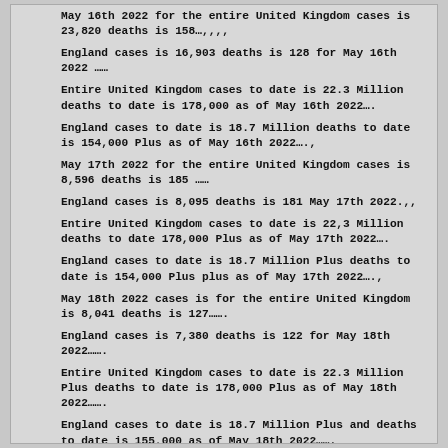May 16th 2022 for the entire United Kingdom cases is 23,820 deaths is 158…,,,,
England cases is 16,903 deaths is 128 for May 16th 2022 ……
Entire United Kingdom cases to date is 22.3 Million deaths to date is 178,000 as of May 16th 2022….
England cases to date is 18.7 Million deaths to date is 154,000 Plus as of May 16th 2022….,
May 17th 2022 for the entire United Kingdom cases is 8,596 deaths is 185 ……
England cases is 8,095 deaths is 181 May 17th 2022.,,
Entire United Kingdom cases to date is 22,3 Million deaths to date 178,000 Plus as of May 17th 2022….
England cases to date is 18.7 Million Plus deaths to date is 154,000 Plus plus as of May 17th 2022….,
May 18th 2022 cases is for the entire United Kingdom is 8,041 deaths is 127…….
England cases is 7,380 deaths is 122 for May 18th 2022…….
Entire United Kingdom cases to date is 22.3 Million Plus deaths to date is 178,000 Plus as of May 18th 2022…….
England cases to date is 18.7 Million Plus and deaths to date is 155,000 as of May 18th 2022…….
May 19th 2022 cases for the entire United Kingdom is 12,199 and death is 169…..